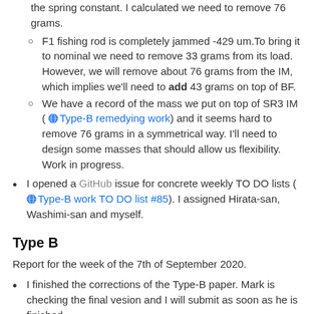F1 fishing rod is completely jammed -429 um.To bring it to nominal we need to remove 33 grams from its load. However, we will remove about 76 grams from the IM, which implies we'll need to add 43 grams on top of BF.
We have a record of the mass we put on top of SR3 IM (Type-B remedying work) and it seems hard to remove 76 grams in a symmetrical way. I'll need to design some masses that should allow us flexibility. Work in progress.
I opened a GitHub issue for concrete weekly TO DO lists (Type-B work TO DO list #85). I assigned Hirata-san, Washimi-san and myself.
Type B
Report for the week of the 7th of September 2020.
I finished the corrections of the Type-B paper. Mark is checking the final vesion and I will submit as soon as he is finished.